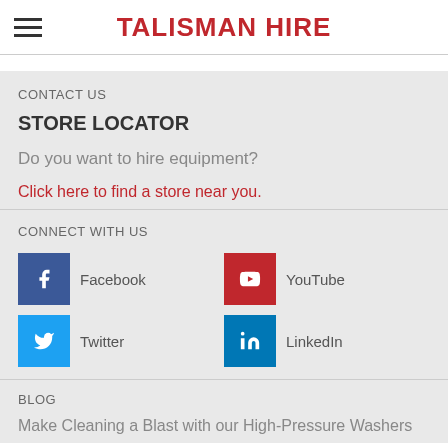TALISMAN HIRE
CONTACT US
STORE LOCATOR
Do you want to hire equipment?
Click here to find a store near you.
CONNECT WITH US
Facebook
YouTube
Twitter
LinkedIn
BLOG
Make Cleaning a Blast with our High-Pressure Washers